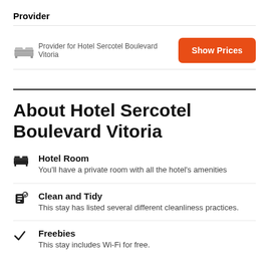Provider
Provider for Hotel Sercotel Boulevard Vitoria
Show Prices
About Hotel Sercotel Boulevard Vitoria
Hotel Room
You'll have a private room with all the hotel's amenities
Clean and Tidy
This stay has listed several different cleanliness practices.
Freebies
This stay includes Wi-Fi for free.